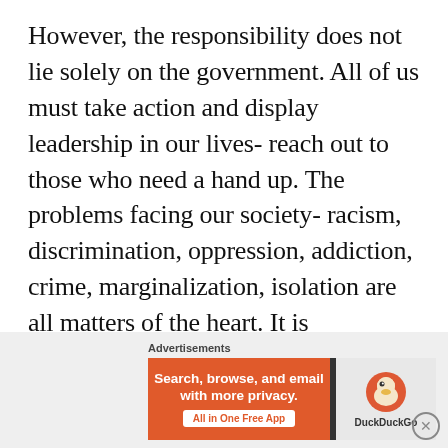However, the responsibility does not lie solely on the government. All of us must take action and display leadership in our lives- reach out to those who need a hand up. The problems facing our society- racism, discrimination, oppression, addiction, crime, marginalization, isolation are all matters of the heart. It is impossible for one election or one candidate to fix society's ills. We must look within and examine ourselves. What can we do? Are we willing to stand in the gap for our loved ones?
...
Advertisements
[Figure (infographic): DuckDuckGo advertisement banner: orange left section with text 'Search, browse, and email with more privacy.' and 'All in One Free App' button, dark divider, right section with DuckDuckGo duck logo and brand name.]